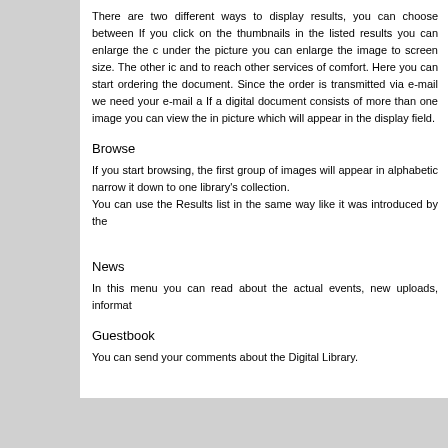There are two different ways to display results, you can choose between them. If you click on the thumbnails in the listed results you can enlarge the c... under the picture you can enlarge the image to screen size. The other ic... and to reach other services of comfort. Here you can start ordering the document. Since the order is transmitted via e-mail we need your e-mail a... If a digital document consists of more than one image you can view the in... picture which will appear in the display field.
Browse
If you start browsing, the first group of images will appear in alphabetic... narrow it down to one library's collection.
You can use the Results list in the same way like it was introduced by the...
News
In this menu you can read about the actual events, new uploads, informat...
Guestbook
You can send your comments about the Digital Library.